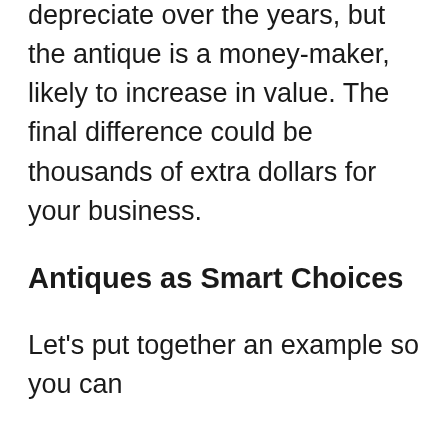depreciate over the years, but the antique is a money-maker, likely to increase in value. The final difference could be thousands of extra dollars for your business.
Antiques as Smart Choices
Let's put together an example so you can